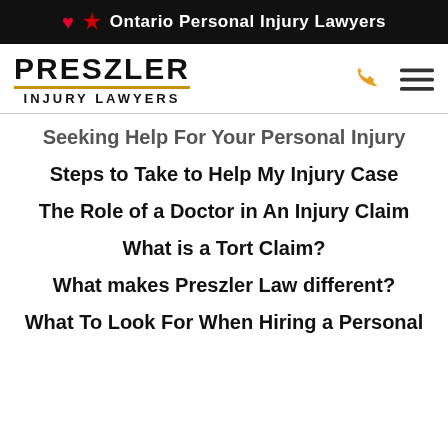🍁 Ontario Personal Injury Lawyers
[Figure (logo): Preszler Injury Lawyers logo with maple leaf phone icon and hamburger menu]
Seeking Help For Your Personal Injury
Steps to Take to Help My Injury Case
The Role of a Doctor in An Injury Claim
What is a Tort Claim?
What makes Preszler Law different?
What To Look For When Hiring a Personal